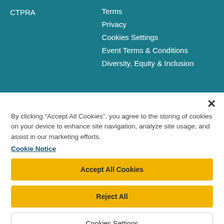CTPRA
Terms
Privacy
Cookies Settings
Event Terms & Conditions
Diversity, Equity & Inclusion
By clicking “Accept All Cookies”, you agree to the storing of cookies on your device to enhance site navigation, analyze site usage, and assist in our marketing efforts.
Cookie Notice
Accept All Cookies
Reject All
Cookies Settings